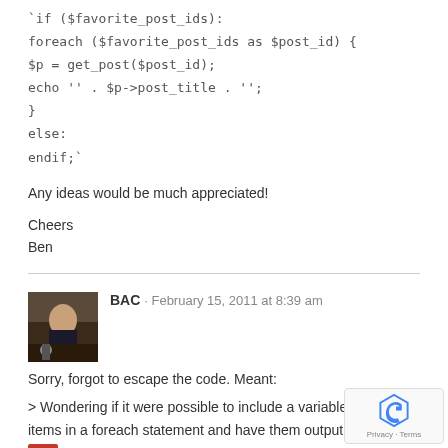`if ($favorite_post_ids):
foreach ($favorite_post_ids as $post_id) {
$p = get_post($post_id);
echo '' . $p->post_title . '';
}
else:
endif;`
Any ideas would be much appreciated!
Cheers
Ben
[Figure (photo): Avatar photo of commenter BAC]
BAC · February 15, 2011 at 8:39 am
Sorry, forgot to escape the code. Meant:
> Wondering if it were possible to include a variable list of items in a foreach statement and have them output in their own 's
i.e.